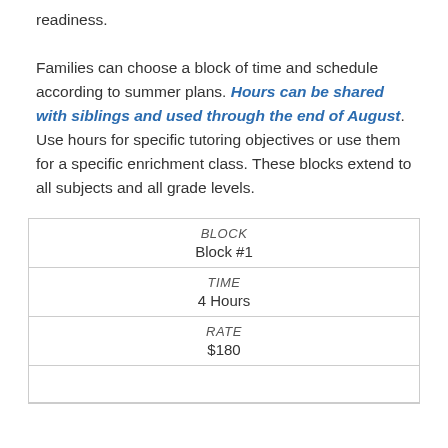readiness. Families can choose a block of time and schedule according to summer plans. Hours can be shared with siblings and used through the end of August. Use hours for specific tutoring objectives or use them for a specific enrichment class. These blocks extend to all subjects and all grade levels.
| BLOCK | TIME | RATE |
| --- | --- | --- |
| Block #1 | 4 Hours | $180 |